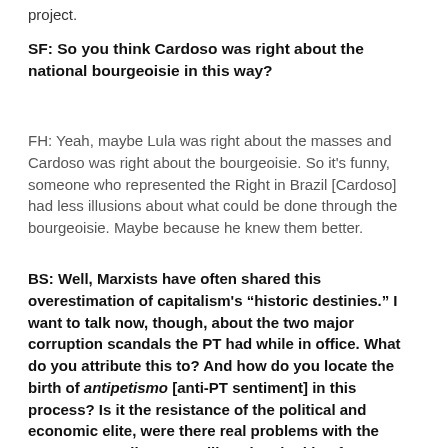project.
SF: So you think Cardoso was right about the national bourgeoisie in this way?
FH: Yeah, maybe Lula was right about the masses and Cardoso was right about the bourgeoisie. So it's funny, someone who represented the Right in Brazil [Cardoso] had less illusions about what could be done through the bourgeoisie. Maybe because he knew them better.
BS: Well, Marxists have often shared this overestimation of capitalism's “historic destinies.” I want to talk now, though, about the two major corruption scandals the PT had while in office. What do you attribute this to? And how do you locate the birth of antipetismo [anti-PT sentiment] in this process? Is it the resistance of the political and economic elite, were there real problems with the party, were ordinary Brazilians just looking for a new leadership? Where did the crisis come from?